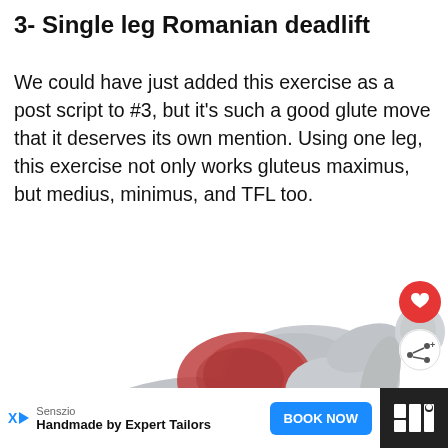3- Single leg Romanian deadlift
We could have just added this exercise as a post script to #3, but it's such a good glute move that it deserves its own mention. Using one leg, this exercise not only works gluteus maximus, but medius, minimus, and TFL too.
[Figure (illustration): Anatomical 3D rendering of a person performing a single leg Romanian deadlift, showing muscles in gray and red highlighting the glutes (gluteus maximus, medius, minimus). The figure is in a horizontal position balancing on one leg.]
WHAT'S NEXT → Crunches Vs Planks: The...
Senszio Handmade by Expert Tailors BOOK NOW